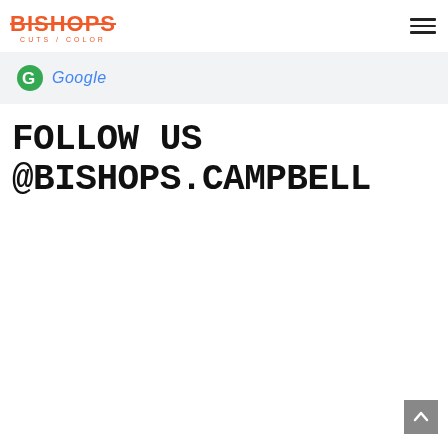BISHOPS CUTS / COLOR
[Figure (logo): Google logo with colored G icon and italic 'Google' text in blue]
FOLLOW US @BISHOPS.CAMPBELL